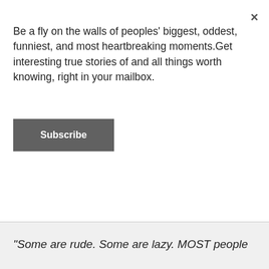Be a fly on the walls of peoples' biggest, oddest, funniest, and most heartbreaking moments.Get interesting true stories of and all things worth knowing, right in your mailbox.
Subscribe
×
"Some are rude. Some are lazy. MOST people